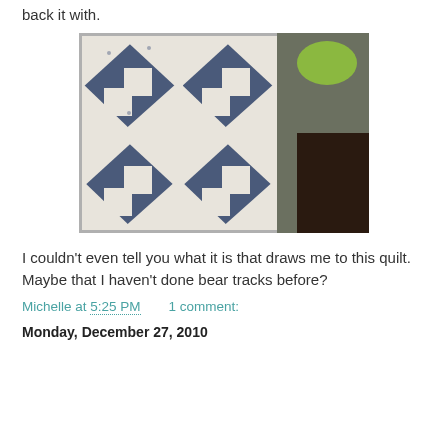back it with.
[Figure (photo): A blue and white bear tracks quilt block laid out on a table, showing a star/bear paw pattern made from dark blue floral fabric and white fabric pieces arranged in a 2x2 grid pattern.]
I couldn't even tell you what it is that draws me to this quilt. Maybe that I haven't done bear tracks before?
Michelle at 5:25 PM    1 comment:
Monday, December 27, 2010